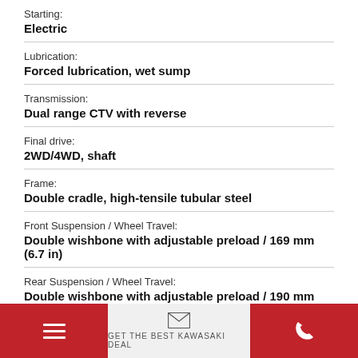Starting:
Electric
Lubrication:
Forced lubrication, wet sump
Transmission:
Dual range CTV with reverse
Final drive:
2WD/4WD, shaft
Frame:
Double cradle, high-tensile tubular steel
Front Suspension / Wheel Travel:
Double wishbone with adjustable preload / 169 mm (6.7 in)
Rear Suspension / Wheel Travel:
Double wishbone with adjustable preload / 190 mm (7.5 in)
GET THE BEST KAWASAKI DEAL